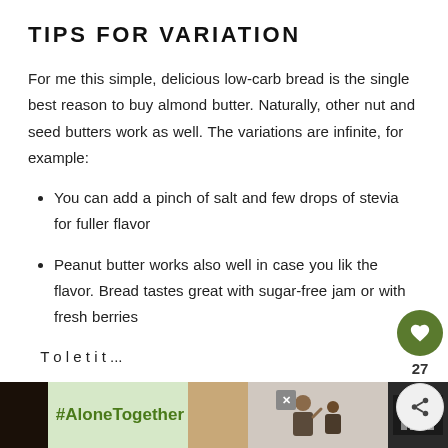TIPS FOR VARIATION
For me this simple, delicious low-carb bread is the single best reason to buy almond butter. Naturally, other nut and seed butters work as well. The variations are infinite, for example:
You can add a pinch of salt and few drops of stevia for fuller flavor
Peanut butter works also well in case you like the flavor. Bread tastes great with sugar-free jam or with fresh berries
To let it...
[Figure (infographic): Ad banner at bottom: green background with #AloneTogether hashtag text, photo of family, close button, and broadcast logo]